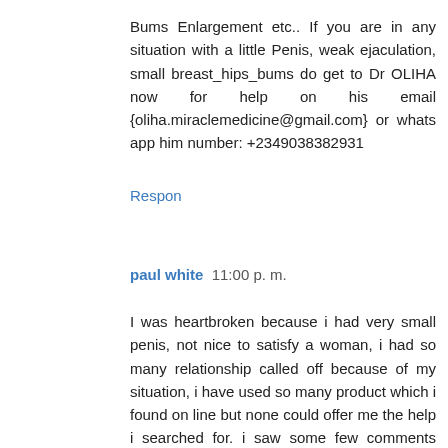Bums Enlargement etc.. If you are in any situation with a little Penis, weak ejaculation, small breast_hips_bums do get to Dr OLIHA now for help on his email {oliha.miraclemedicine@gmail.com} or whats app him number: +2349038382931
Respon
paul white  11:00 p. m.
I was heartbroken because i had very small penis, not nice to satisfy a woman, i had so many relationship called off because of my situation, i have used so many product which i found on line but none could offer me the help i searched for. i saw some few comments about this specialist called Dr Moses and decided to email him dr.mosesherbalisthome@gmail.com, so I decided to give his herbal product a try. i emailed him and he got back to me, he gave me some comforting words with his herbal pills for Penis Enlargement, Within 3 week of it, i began to feel the enlargement of my penis, " and now it just 4 weeks of using his products my penis is about 9 inches longer and